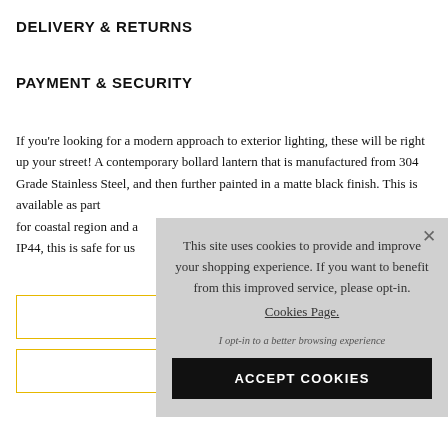DELIVERY & RETURNS
PAYMENT & SECURITY
If you're looking for a modern approach to exterior lighting, these will be right up your street! A contemporary bollard lantern that is manufactured from 304 Grade Stainless Steel, and then further painted in a matte black finish. This is available as part [obscured] for coastal region and a[obscured] IP44, this is safe for us[obscured]
[Figure (screenshot): Cookie consent overlay with message: This site uses cookies to provide and improve your shopping experience. If you want to benefit from this improved service, please opt-in. Cookies Page. With opt-in link and ACCEPT COOKIES button.]